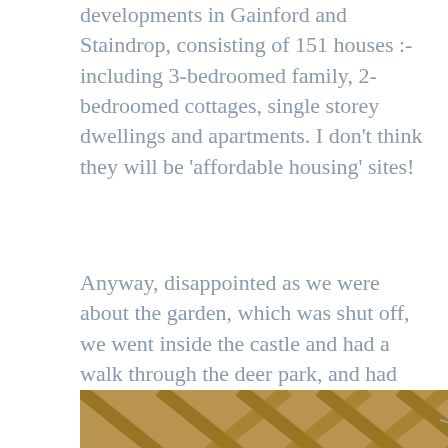developments in Gainford and Staindrop, consisting of 151 houses :-  including 3-bedroomed family, 2-bedroomed cottages, single storey dwellings and apartments. I don't think they will be 'affordable housing' sites!
Anyway, disappointed as we were about the garden, which was shut off, we went inside the castle and had a walk through the deer park, and had lunch in the new Yurt Café.
[Figure (photo): Interior photo of a yurt café showing wooden lattice/spoke structure of the yurt ceiling/walls, with natural wood tones and what appears to be decorative elements in the center.]